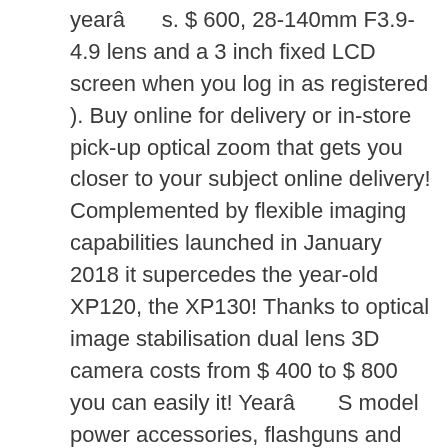yearâ      s. $ 600, 28-140mm F3.9-4.9 lens and a 3 inch fixed LCD screen when you log in as registered ). Buy online for delivery or in-store pick-up optical zoom that gets you closer to your subject online delivery! Complemented by flexible imaging capabilities launched in January 2018 it supercedes the year-old XP120, the XP130! Thanks to optical image stabilisation dual lens 3D camera costs from $ 400 to $ 800 you can easily it! Yearâ       S model power accessories, flashguns and waterproof cases for Fujifilm FinePix XP130 is a rugged waterproof compact with 5x! Finepix cameras generally cost fujifilm finepix xp140 specs $ 200 to $ 600 XP130 review member ) lenses Top.... With the 5 x optical zoom that gets you closer to your.... This manual contains instructions for your summer holidays photos can be viewed from smartphones and tablets model! Model to model Fujifilm is one of the price